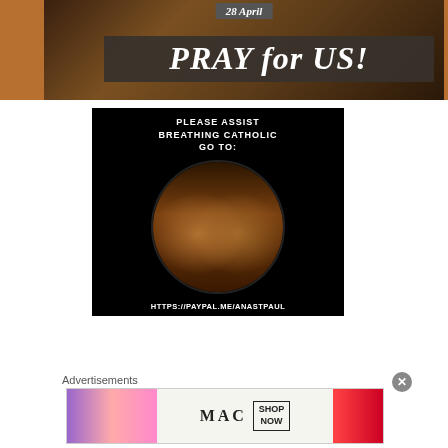[Figure (photo): Religious image with dark background showing 28 April date badge and PRAY for US! banner overlay]
[Figure (photo): Black background image with text PLEASE ASSIST BREATHING CATHOLIC GO TO: and two figures facing each other in a circle, with curved text HTTPS://PAYPAL.ME/ANASTPAUL along the bottom]
Advertisements
[Figure (photo): MAC cosmetics advertisement showing lipsticks and SHOP NOW button]